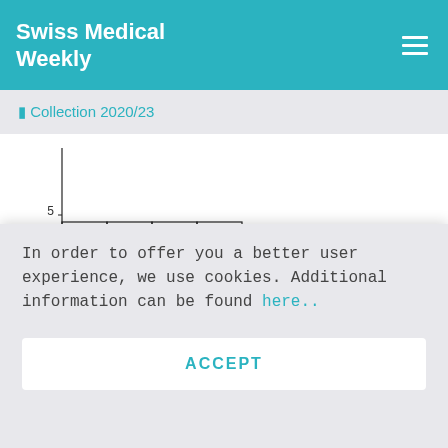Swiss Medical Weekly
◼ Collection 2020/23
[Figure (histogram): Time between first symptoms and diagnosis (months)]
In order to offer you a better user experience, we use cookies. Additional information can be found here..
ACCEPT